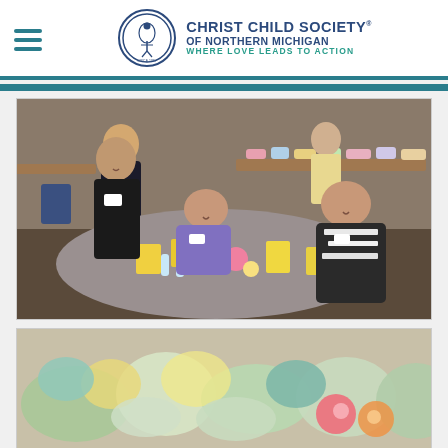Christ Child Society of Northern Michigan — Where Love Leads to Action
[Figure (photo): Group of women volunteers sitting and standing around a table covered with craft supplies, yarn, and yellow tags in a community hall setting. Tables in the background hold organized donated items.]
[Figure (photo): Close-up of baby items including knitted blankets, hats, and colorful crocheted flowers arranged on a table.]